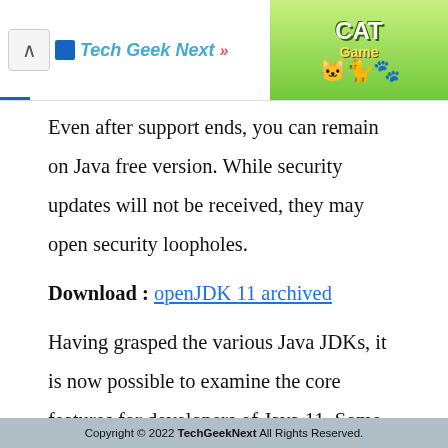Tech Geek Next
[Figure (illustration): Cat Game advertisement banner with colorful cartoon cats on a green background]
Even after support ends, you can remain on Java free version. While security updates will not be received, they may open security loopholes.
Download : openJDK 11 archived
Having grasped the various Java JDKs, it is now possible to examine the core features for developers of Java 11. Some important JEPs are going to be understand next.
Copyright © 2022 TechGeekNext All Rights Reserved.